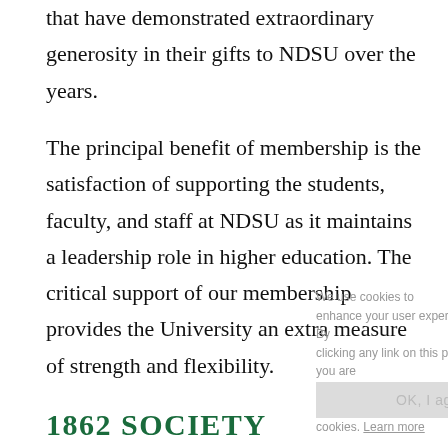that have demonstrated extraordinary generosity in their gifts to NDSU over the years.
The principal benefit of membership is the satisfaction of supporting the students, faculty, and staff at NDSU as it maintains a leadership role in higher education. The critical support of our membership provides the University an extra measure of strength and flexibility.
1862 SOCIETY